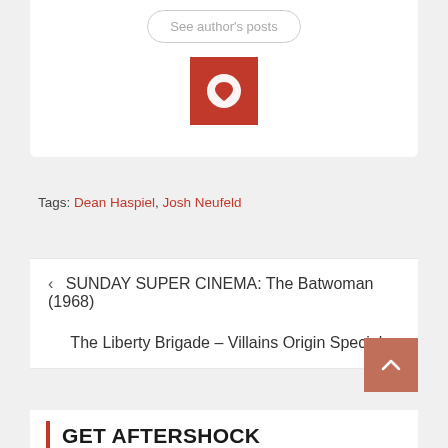See author's posts
[Figure (logo): Red square icon with a white heart/person symbol]
Tags: Dean Haspiel, Josh Neufeld
< SUNDAY SUPER CINEMA: The Batwoman (1968)
The Liberty Brigade – Villains Origin Special >
GET AFTERSHOCK